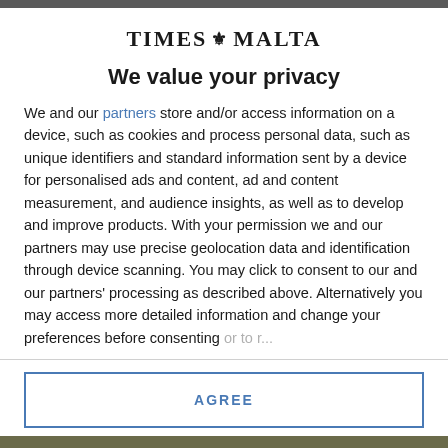[Figure (logo): Times of Malta logo with text 'TIMES MALTA' and a small crest icon between the words]
We value your privacy
We and our partners store and/or access information on a device, such as cookies and process personal data, such as unique identifiers and standard information sent by a device for personalised ads and content, ad and content measurement, and audience insights, as well as to develop and improve products. With your permission we and our partners may use precise geolocation data and identification through device scanning. You may click to consent to our and our partners' processing as described above. Alternatively you may access more detailed information and change your preferences before consenting
AGREE
MORE OPTIONS